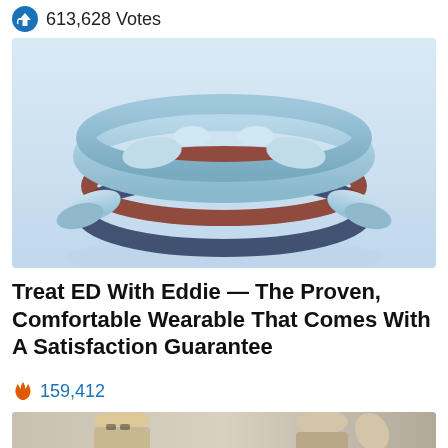613,628 Votes
[Figure (photo): Stack of light blue wearable ring devices with connector clasps, displayed on a light background]
Treat ED With Eddie — The Proven, Comfortable Wearable That Comes With A Satisfaction Guarantee
159,412
[Figure (photo): Two people, a blonde woman with glasses and an older man waving]